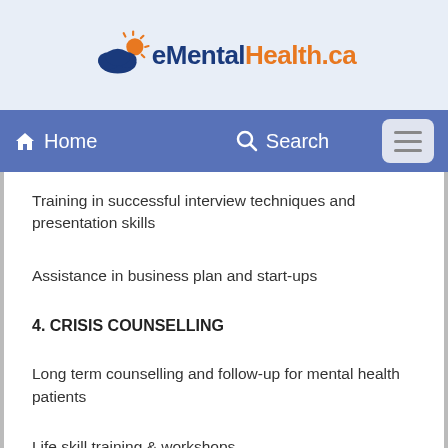eMentalHealth.ca
Home  Search
Training in successful interview techniques and presentation skills
Assistance in business plan and start-ups
4. CRISIS COUNSELLING
Long term counselling and follow-up for mental health patients
Life skill training & workshops